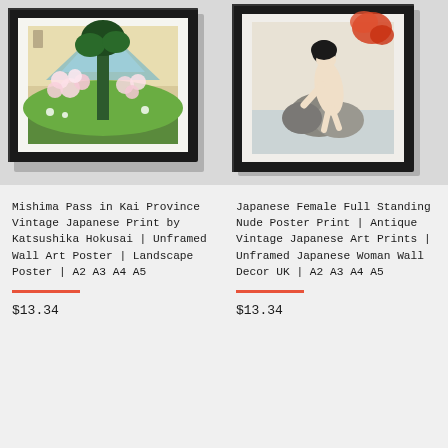[Figure (illustration): Framed Japanese woodblock print showing Mishima Pass with a tall green tree, cherry blossoms, and a mountain in the background. Black frame with white mat.]
Mishima Pass in Kai Province Vintage Japanese Print by Katsushika Hokusai | Unframed Wall Art Poster | Landscape Poster | A2 A3 A4 A5
$13.34
[Figure (illustration): Framed Japanese art print showing a female nude figure standing near rocks, with red foliage in the upper right. Black frame with white mat.]
Japanese Female Full Standing Nude Poster Print | Antique Vintage Japanese Art Prints | Unframed Japanese Woman Wall Decor UK | A2 A3 A4 A5
$13.34